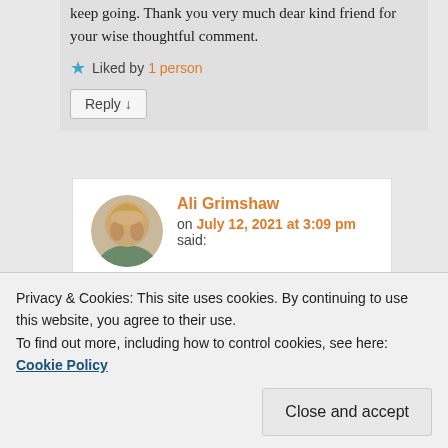keep going. Thank you very much dear kind friend for your wise thoughtful comment.
★ Liked by 1 person
Reply ↓
Ali Grimshaw on July 12, 2021 at 3:09 pm said:
I am glad to hear that you received my words of love. Take
Privacy & Cookies: This site uses cookies. By continuing to use this website, you agree to their use.
To find out more, including how to control cookies, see here: Cookie Policy
Close and accept